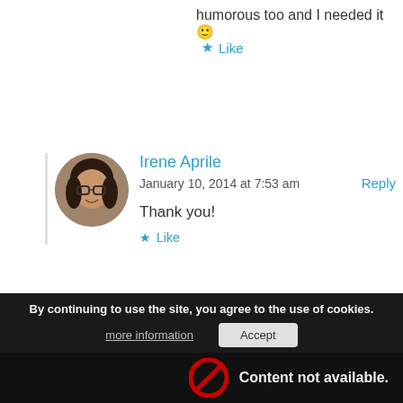humorous too and I needed it 🙂
★ Like
Irene Aprile
January 10, 2014 at 7:53 am
Reply
Thank you!
★ Like
LEAVE A REPLY
By continuing to use the site, you agree to the use of cookies.
more information
Accept
Content not available.